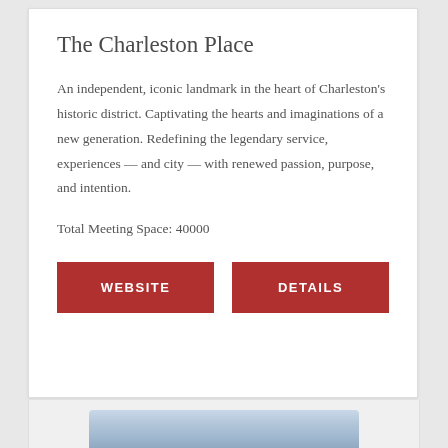The Charleston Place
An independent, iconic landmark in the heart of Charleston's historic district. Captivating the hearts and imaginations of a new generation. Redefining the legendary service, experiences — and city — with renewed passion, purpose, and intention.
Total Meeting Space: 40000
WEBSITE
DETAILS
[Figure (photo): Partial view of a photo at the bottom of the page, showing a blue/grey image]